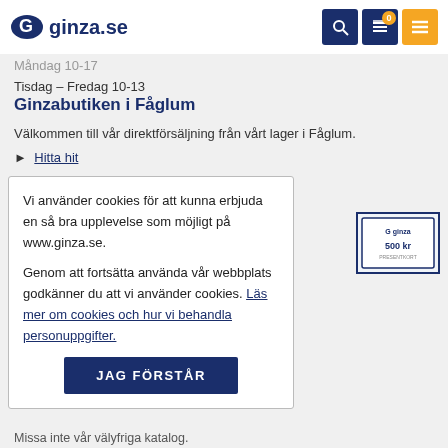[Figure (logo): Ginza.se logo with stylized G icon and navigation icons (search, cart with 0, menu) on right]
Måndag 10-17
Tisdag – Fredag 10-13
Ginzabutiken i Fåglum
Välkommen till vår direktförsäljning från vårt lager i Fåglum.
▶ Hitta hit
Vi använder cookies för att kunna erbjuda en så bra upplevelse som möjligt på www.ginza.se.

Genom att fortsätta använda vår webbplats godkänner du att vi använder cookies. Läs mer om cookies och hur vi behandla personuppgifter.

JAG FÖRSTÅR
[Figure (illustration): Ginza gift card thumbnail showing 500 kr value]
Missa inte vår välyfriga katalog.